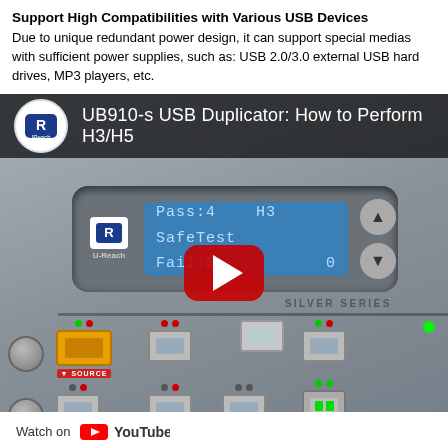Support High Compatibilities with Various USB Devices
Due to unique redundant power design, it can support special medias with sufficient power supplies, such as: USB 2.0/3.0 external USB hard drives, MP3 players, etc.
[Figure (screenshot): YouTube embedded video thumbnail showing UB910-s USB Duplicator: How to Perform H3/H5 with a YouTube play button overlay. The video shows a USB duplicator device with LCD display showing 'Pass:4  H3 SafeTest / Fail:0         0'. Bottom bar shows 'Watch on YouTube'.]